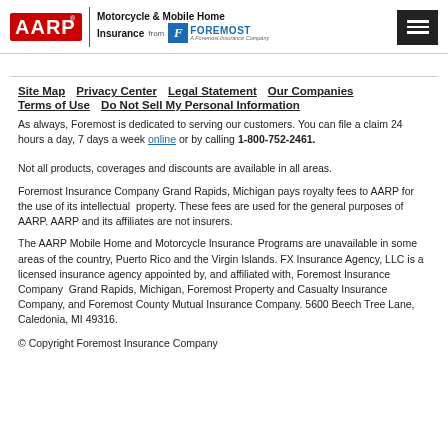AARP Motorcycle & Mobile Home Insurance from FOREMOST
Site Map
Privacy Center
Legal Statement
Our Companies
Terms of Use
Do Not Sell My Personal Information
As always, Foremost is dedicated to serving our customers. You can file a claim 24 hours a day, 7 days a week online or by calling 1-800-752-2461.
Not all products, coverages and discounts are available in all areas.
Foremost Insurance Company Grand Rapids, Michigan pays royalty fees to AARP for the use of its intellectual property. These fees are used for the general purposes of AARP. AARP and its affiliates are not insurers.
The AARP Mobile Home and Motorcycle Insurance Programs are unavailable in some areas of the country, Puerto Rico and the Virgin Islands. FX Insurance Agency, LLC is a licensed insurance agency appointed by, and affiliated with, Foremost Insurance Company Grand Rapids, Michigan, Foremost Property and Casualty Insurance Company, and Foremost County Mutual Insurance Company. 5600 Beech Tree Lane, Caledonia, MI 49316.
© Copyright Foremost Insurance Company